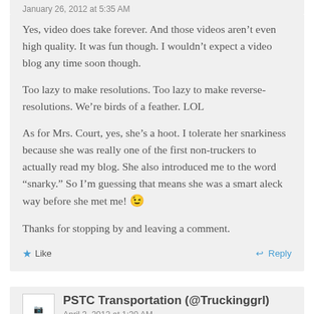January 26, 2012 at 5:35 AM
Yes, video does take forever. And those videos aren't even high quality. It was fun though. I wouldn't expect a video blog any time soon though.
Too lazy to make resolutions. Too lazy to make reverse-resolutions. We're birds of a feather. LOL
As for Mrs. Court, yes, she's a hoot. I tolerate her snarkiness because she was really one of the first non-truckers to actually read my blog. She also introduced me to the word “snarky.” So I'm guessing that means she was a smart aleck way before she met me! 😉
Thanks for stopping by and leaving a comment.
Like
Reply
PSTC Transportation (@Truckinggrl)
April 3, 2012 at 1:30 AM